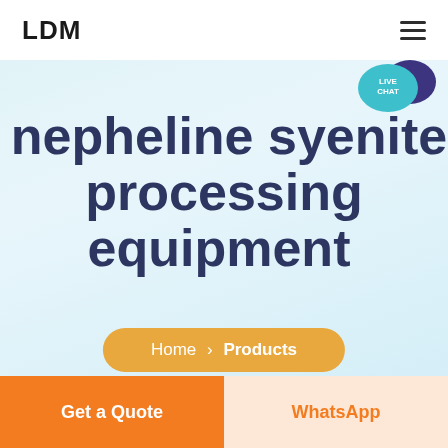LDM
[Figure (illustration): Live Chat speech bubble icon with teal bubble and dark purple chat bubble, labeled LIVE CHAT]
nepheline syenite processing equipment
Home > Products
Get a Quote
WhatsApp